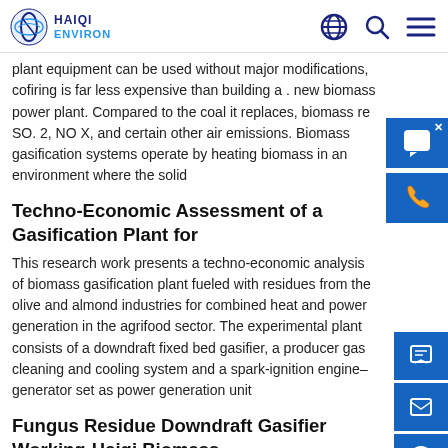HAIQI ENVIRON
plant equipment can be used without major modifications, cofiring is far less expensive than building a . new biomass power plant. Compared to the coal it replaces, biomass re SO. 2, NO X, and certain other air emissions. Biomass gasification systems operate by heating biomass in an environment where the solid
Techno-Economic Assessment of a Gasification Plant for
This research work presents a techno-economic analysis of biomass gasification plant fueled with residues from the olive and almond industries for combined heat and power generation in the agrifood sector. The experimental plant consists of a downdraft fixed bed gasifier, a producer gas cleaning and cooling system and a spark-ignition engine–generator set as power generation unit
Fungus Residue Downdraft Gasifier Working-Haiqi Biomass